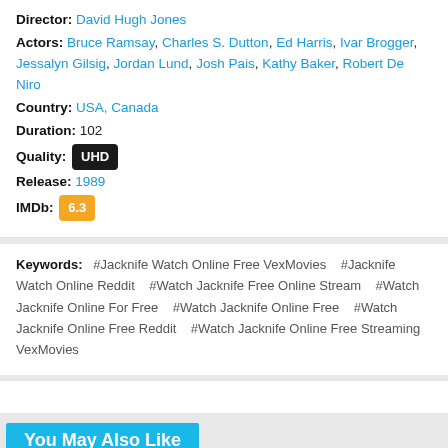Director: David Hugh Jones
Actors: Bruce Ramsay, Charles S. Dutton, Ed Harris, Ivar Brogger, Jessalyn Gilsig, Jordan Lund, Josh Pais, Kathy Baker, Robert De Niro
Country: USA, Canada
Duration: 102
Quality: UHD
Release: 1989
IMDb: 6.3
Keywords: #Jacknife Watch Online Free VexMovies   #Jacknife Watch Online Reddit   #Watch Jacknife Free Online Stream   #Watch Jacknife Online For Free   #Watch Jacknife Online Free   #Watch Jacknife Online Free Reddit   #Watch Jacknife Online Free Streaming VexMovies
You May Also Like